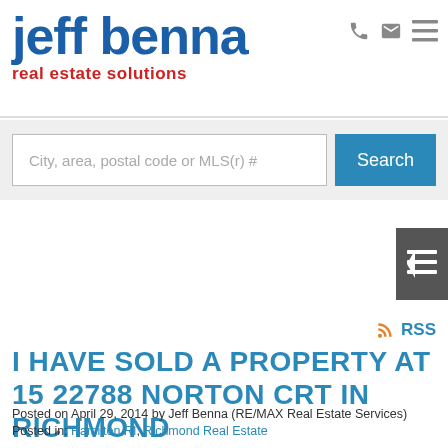jeff benna real estate solutions
City, area, postal code or MLS(r) #
I HAVE SOLD A PROPERTY AT 15 22788 NORTON CRT IN RICHMOND
Posted on April 29, 2014 by Jeff Benna (RE/MAX Real Estate Services)
Posted in: Hamilton RI, Richmond Real Estate